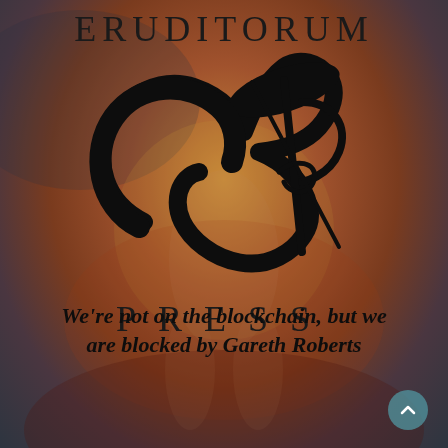ERUDITORUM
[Figure (logo): Eruditorum Press stylized EP logo in black calligraphic script with a large curving E and ornate P with ribbon/loop detail]
PRESS
We're not on the blockchain, but we are blocked by Gareth Roberts